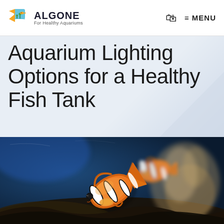ALGONE — For Healthy Aquariums | MENU
Aquarium Lighting Options for a Healthy Fish Tank
[Figure (photo): Two clownfish (orange with white stripes) swimming in an aquarium with blurred blue and dark background and a visible anemone or rock structure.]